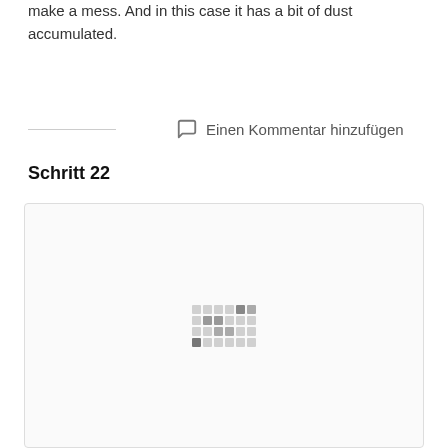make a mess. And in this case it has a bit of dust accumulated.
Einen Kommentar hinzufügen
Schritt 22
[Figure (photo): Large image placeholder with a loading spinner pattern of small grey squares in the center, shown inside a light grey bordered box.]